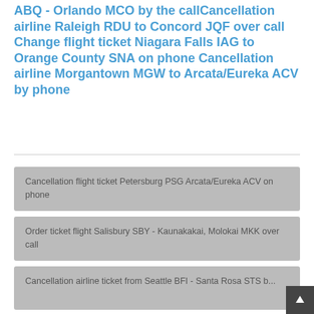ABQ - Orlando MCO by the call Cancellation airline Raleigh RDU to Concord JQF over call Change flight ticket Niagara Falls IAG to Orange County SNA on phone Cancellation airline Morgantown MGW to Arcata/Eureka ACV by phone
Cancellation flight ticket Petersburg PSG Arcata/Eureka ACV on phone
Order ticket flight Salisbury SBY - Kaunakakai, Molokai MKK over call
Cancellation airline ticket from Seattle BFI - Santa Rosa STS b...